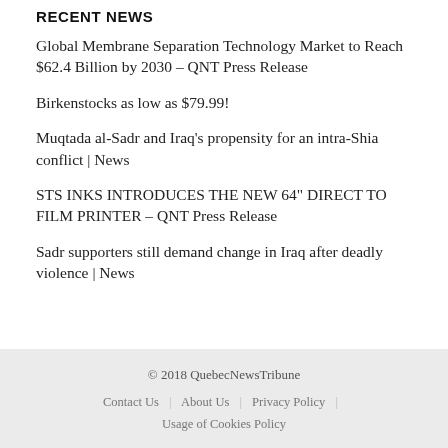RECENT NEWS
Global Membrane Separation Technology Market to Reach $62.4 Billion by 2030 – QNT Press Release
Birkenstocks as low as $79.99!
Muqtada al-Sadr and Iraq's propensity for an intra-Shia conflict | News
STS INKS INTRODUCES THE NEW 64" DIRECT TO FILM PRINTER – QNT Press Release
Sadr supporters still demand change in Iraq after deadly violence | News
© 2018 QuebecNewsTribune
Contact Us | About Us | Privacy Policy | Usage of Cookies Policy